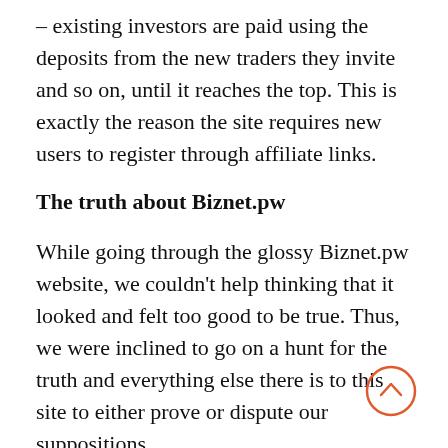– existing investors are paid using the deposits from the new traders they invite and so on, until it reaches the top. This is exactly the reason the site requires new users to register through affiliate links.
The truth about Biznet.pw
While going through the glossy Biznet.pw website, we couldn't help thinking that it looked and felt too good to be true. Thus, we were inclined to go on a hunt for the truth and everything else there is to this site to either prove or dispute our suppositions.
We were quite surprised to find out that Biznet.pw is quite a popular site globally with